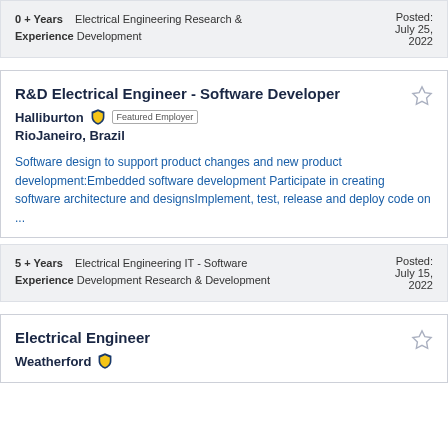0 + Years Experience    Electrical Engineering Research & Development    Posted: July 25, 2022
R&D Electrical Engineer - Software Developer
Halliburton  Featured Employer  RioJaneiro, Brazil
Software design to support product changes and new product development:Embedded software development Participate in creating software architecture and designsImplement, test, release and deploy code on ...
5 + Years Experience    Electrical Engineering IT - Software Development Research & Development    Posted: July 15, 2022
Electrical Engineer
Weatherford